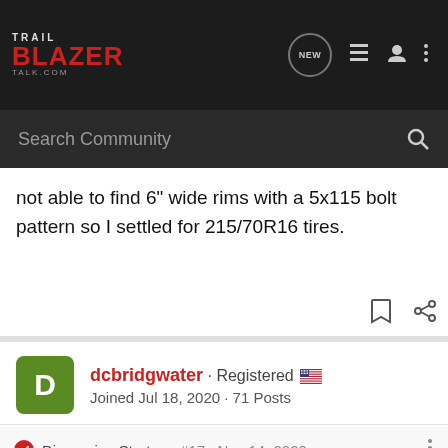Trail Blazer Talk.com - navigation header with search bar
not able to find 6" wide rims with a 5x115 bolt pattern so I settled for 215/70R16 tires.
dcbridgwater · Registered
Joined Jul 18, 2020 · 71 Posts
Discussion Starter · #17 · Nov 14, 2020
The snow tires have now been on for about 400 miles, then I removed... und the calipers... d they
[Figure (screenshot): Nitto Nomad Grappler Crossover-Terrain Tire advertisement banner overlaying the post text]